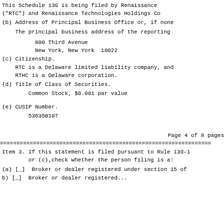This Schedule 13G is being filed by Renaissance
("RTC") and Renaissance Technologies Holdings Co
(b) Address of Principal Business Office or, if none
The principal business address of the reporting
800 Third Avenue
New York, New York  10022
(c) Citizenship.
RTC is a Delaware limited liability company, and
RTHC is a Delaware corporation.
(d) Title of Class of Securities.
Common Stock, $0.001 par value
(e) CUSIP Number.
53635B107
Page 4 of 8 pages
Item 3. If this statement is filed pursuant to Rule 13d-1
        or (c),check whether the person filing is a:
(a) [_]  Broker or dealer registered under section 15 of
b) [_]  Broker or dealer registered...